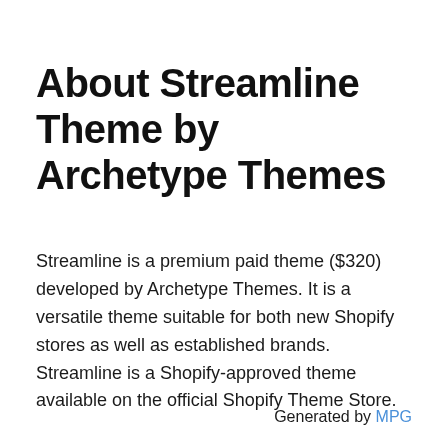About Streamline Theme by Archetype Themes
Streamline is a premium paid theme ($320) developed by Archetype Themes. It is a versatile theme suitable for both new Shopify stores as well as established brands. Streamline is a Shopify-approved theme available on the official Shopify Theme Store.
Generated by MPG